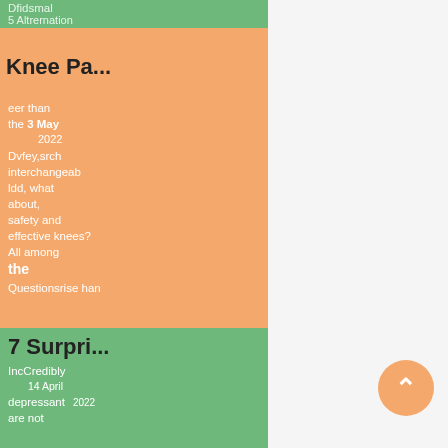Knee Pa...
3 May 2022
Pros, cons, alternatives, and what to look for in a good knee brace. Are there any questions you are looking for? All among the questions arise from symptoms, includes on the face...
[Figure (other): Learn more button - circular grey button]
7 Surpri...
14 April 2022
Incredibly depressant are not...
[Figure (other): Back to top arrow button - circular orange button with chevron up icon]